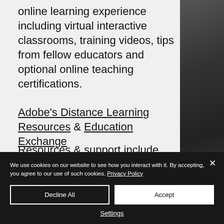online learning experience including virtual interactive classrooms, training videos, tips from fellow educators and optional online teaching certifications.
Adobe's Distance Learning Resources & Education Exchange
We use cookies on our website to see how you interact with it. By accepting, you agree to our use of such cookies. Privacy Policy
Decline All
Accept
Settings